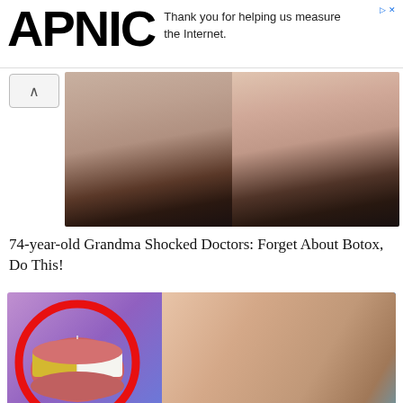APNIC
Thank you for helping us measure the Internet.
[Figure (photo): Before and after photos of a woman's lower face, side by side, showing skin changes.]
74-year-old Grandma Shocked Doctors: Forget About Botox, Do This!
[Figure (photo): Teeth whitening advertisement showing a before/after teeth comparison in a red circle alongside a woman using a blue light teeth whitening device.]